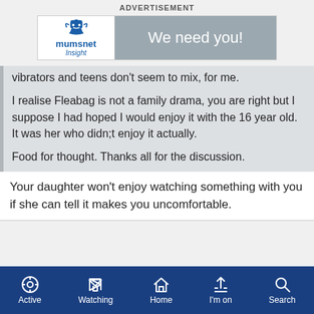ADVERTISEMENT
[Figure (logo): Mumsnet Insight advertisement banner with logo on left and 'We need you!' text on grey right panel]
vibrators and teens don't seem to mix, for me.
I realise Fleabag is not a family drama, you are right but I suppose I had hoped I would enjoy it with the 16 year old. It was her who didn;t enjoy it actually.
Food for thought. Thanks all for the discussion.
Your daughter won't enjoy watching something with you if she can tell it makes you uncomfortable.
Active  Watching  Home  I'm on  Search